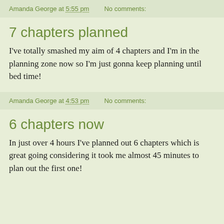Amanda George at 5:55 pm   No comments:
7 chapters planned
I've totally smashed my aim of 4 chapters and I'm in the planning zone now so I'm just gonna keep planning until bed time!
Amanda George at 4:53 pm   No comments:
6 chapters now
In just over 4 hours I've planned out 6 chapters which is great going considering it took me almost 45 minutes to plan out the first one!